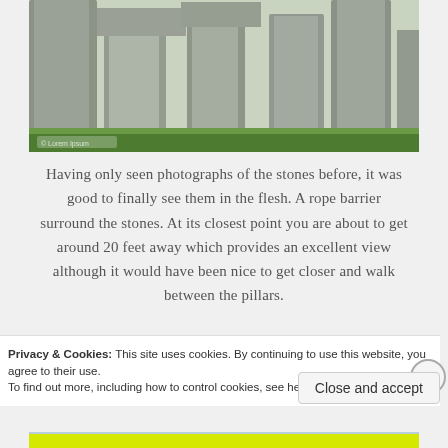[Figure (photo): Close-up photograph of Stonehenge standing stones, large grey stone pillars with green grass visible at base, copyright watermark in lower left]
Having only seen photographs of the stones before, it was good to finally see them in the flesh. A rope barrier surround the stones. At its closest point you are about to get around 20 feet away which provides an excellent view although it would have been nice to get closer and walk between the pillars.
[Figure (photo): Photograph of a black bird (crow or jackdaw) perched on top of a grey stone at Stonehenge, blue sky in background]
Privacy & Cookies: This site uses cookies. By continuing to use this website, you agree to their use.
To find out more, including how to control cookies, see here: Cookie Policy
Close and accept